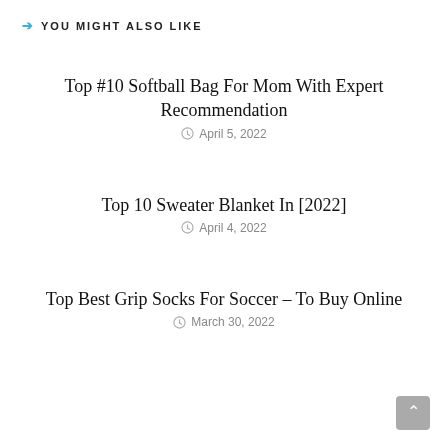YOU MIGHT ALSO LIKE
Top #10 Softball Bag For Mom With Expert Recommendation
April 5, 2022
Top 10 Sweater Blanket In [2022]
April 4, 2022
Top Best Grip Socks For Soccer – To Buy Online
March 30, 2022